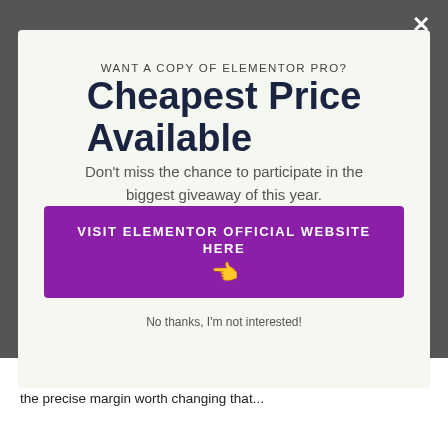WANT A COPY OF ELEMENTOR PRO?
Cheapest Price Available
Don't miss the chance to participate in the biggest giveaway of this year.
VISIT ELEMENTOR OFFICIAL WEBSITE HERE 👈
No thanks, I'm not interested!
If something is misaligned on the web page, it's often hard to situate the precise margin worth changing that...